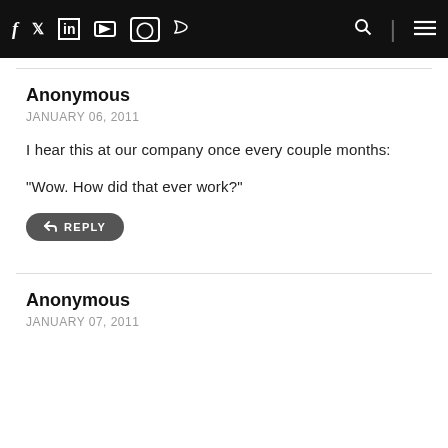f  twitter  in  youtube  instagram  rss  [search] [menu]
Anonymous
JANUARY 06, 2011

I hear this at our company once every couple months:

"Wow. How did that ever work?"
REPLY
Anonymous
JANUARY 07, 2011